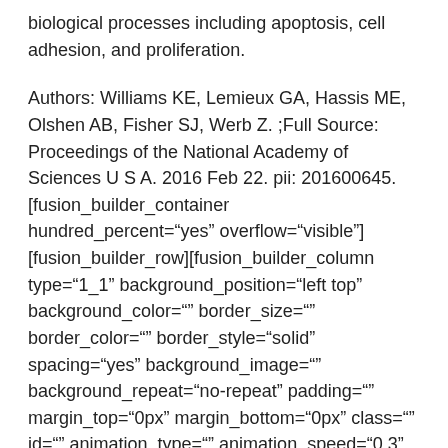biological processes including apoptosis, cell adhesion, and proliferation.
Authors: Williams KE, Lemieux GA, Hassis ME, Olshen AB, Fisher SJ, Werb Z. ;Full Source: Proceedings of the National Academy of Sciences U S A. 2016 Feb 22. pii: 201600645. [fusion_builder_container hundred_percent="yes" overflow="visible"][fusion_builder_row][fusion_builder_column type="1_1" background_position="left top" background_color="" border_size="" border_color="" border_style="solid" spacing="yes" background_image="" background_repeat="no-repeat" padding="" margin_top="0px" margin_bottom="0px" class="" id="" animation_type="" animation_speed="0.3" animation_direction="left" hide_on_mobile="no" center_content="no" min_height="none"][Epub ahead of print] ;[/fusion_builder_column][/fusion_builder_row]